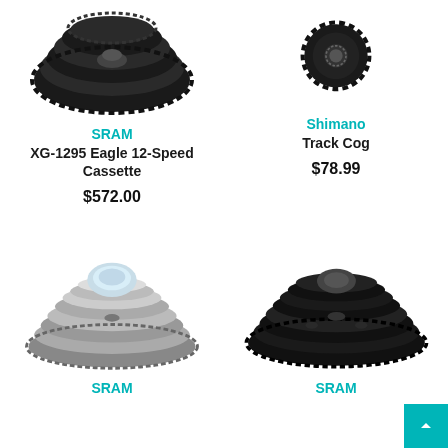[Figure (photo): SRAM XG-1295 Eagle 12-Speed Cassette - large black cassette sprocket set seen from angle, top-left product]
SRAM
XG-1295 Eagle 12-Speed Cassette
$572.00
[Figure (photo): Shimano Track Cog - small black single sprocket, top-right product]
Shimano
Track Cog
$78.99
[Figure (photo): SRAM cassette - silver/nickel multi-sprocket cassette, bottom-left product]
SRAM
[Figure (photo): SRAM cassette - large black multi-sprocket cassette, bottom-right product]
SRAM